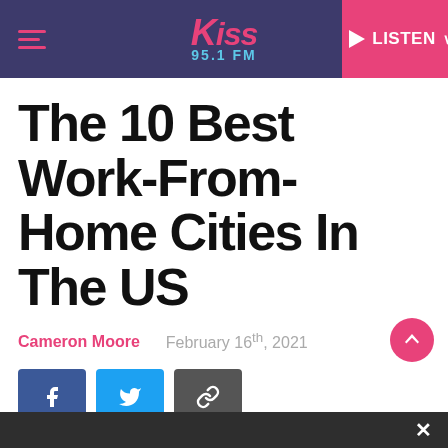Kiss 95.1 FM — LISTEN
The 10 Best Work-From-Home Cities In The US
Cameron Moore   February 16th, 2021
[Figure (screenshot): Social share buttons: Facebook (blue), Twitter (light blue), Link (dark gray)]
[Figure (photo): Partial preview of an interior/home office image at the bottom of the page]